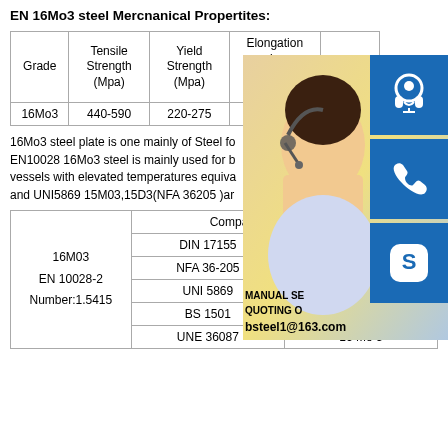EN 16Mo3 steel Mercnanical Propertites:
| Grade | Tensile Strength (Mpa) | Yield Strength (Mpa) | Elongation in 100-150 mm(%) |
| --- | --- | --- | --- |
| 16Mo3 | 440-590 | 220-275 | 19 |
[Figure (photo): Woman with headset customer service representative with blue contact icons (headset, phone, Skype) and contact details overlay]
16Mo3 steel plate is one mainly of Steel fo EN10028 16Mo3 steel is mainly used for b vessels with elevated temperatures equiva and UNI5869 15M03,15D3(NFA 36205 )ar
|  | Comparision of steel grades |  |
| --- | --- | --- |
| 16M03
EN 10028-2
Number:1.5415 | DIN 17155 | 15 Mo03 |
|  | NFA 36-205 | 15 D3 |
|  | UNI 5869 | 15 MO 3 |
|  | BS 1501 | 1503 - 243 B |
|  | UNE 36087 | 16 Mo 3 |